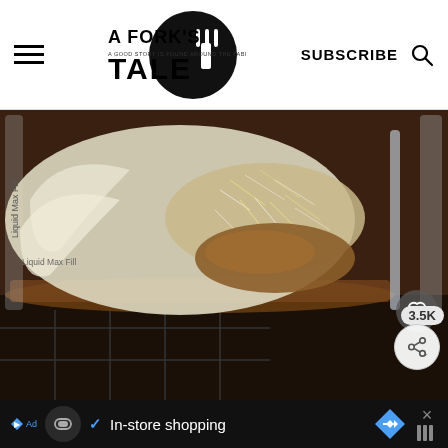A Fork's Tale — SUBSCRIBE (navigation header with hamburger menu and search icon)
[Figure (photo): Close-up photo of food ingredients inside a blender — showing shredded parmesan cheese, cooked onions, and a dark broth/liquid at the bottom. The blender has a 'Liquid Max Fill' marking visible on the side. A metal utensil is partially visible on the right.]
3.5K
In-store shopping